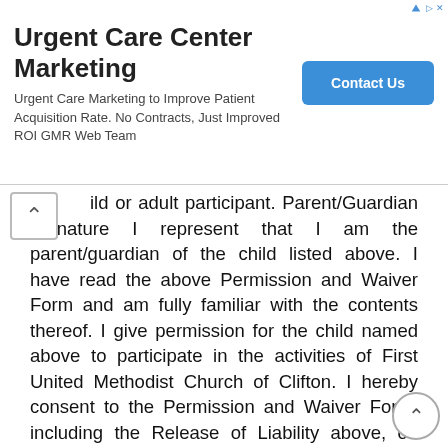[Figure (other): Advertisement banner for Urgent Care Center Marketing by GMR Web Team with a blue Contact Us button]
ild or adult participant. Parent/Guardian Signature I represent that I am the parent/guardian of the child listed above. I have read the above Permission and Waiver Form and am fully familiar with the contents thereof. I give permission for the child named above to participate in the activities of First United Methodist Church of Clifton. I hereby consent to the Permission and Waiver Form, including the Release of Liability above, on behalf of the child, and agree that this Permission and Waiver Form shall be binding upon me and my estate. Signature of Parent or Legal Guardian Date Print Name of Parent or Legal Guardian Adult Volunteers and Employees As an adult volunteer or church employee, I hereby agree to each of the consents and waivers listed above, including the Release of Liability, as pertaining to my own participation in these activities. Signature Date All Participants Along with the leaders and other youth, I agree to conduct myself in a Christian manner. I promise to respect God, respect